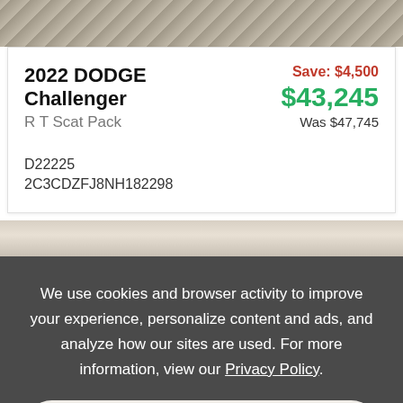[Figure (photo): Top portion of a car image showing textured/patterned surface]
2022 DODGE Challenger
R T Scat Pack
Save: $4,500
$43,245
Was $47,745
D22225
2C3CDZFJ8NH182298
[Figure (photo): Partial car image showing hood/roof area]
We use cookies and browser activity to improve your experience, personalize content and ads, and analyze how our sites are used. For more information, view our Privacy Policy.
Accept